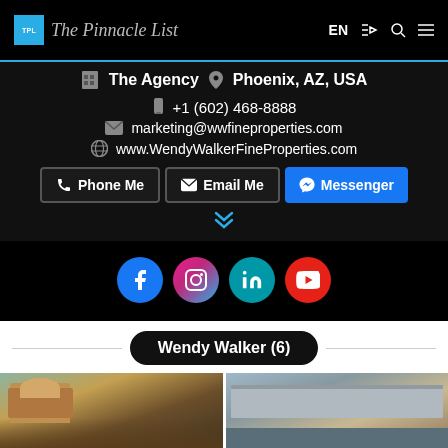The Pinnacle List — EN navigation bar
The Agency  Phoenix, AZ, USA
+1 (602) 468-8888
marketing@wwfineproperties.com
www.WendyWalkerFineProperties.com
Phone Me  |  Email Me  |  Messenger
[Figure (infographic): Social media icons: Facebook (blue), Instagram (pink/gradient), LinkedIn (teal), YouTube (red)]
Wendy Walker (6)
[Figure (photo): Two property listing photos side by side — left: Spanish/Mediterranean style home, right: modern desert home with flat roof]